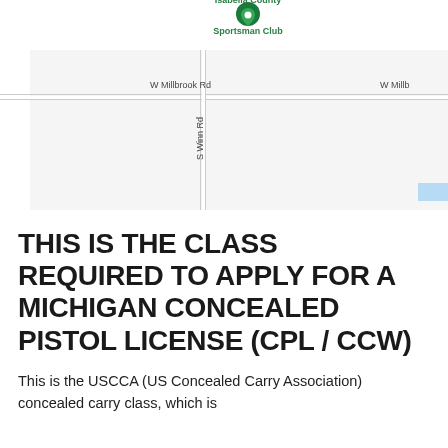[Figure (map): Google Maps screenshot showing Isabella County Sportsman Club location at intersection of W Millbrook Rd and S Winn Rd. A green map pin marks the club location. The map shows a light gray road network with white road lines.]
THIS IS THE CLASS REQUIRED TO APPLY FOR A MICHIGAN CONCEALED PISTOL LICENSE (CPL / CCW)
This is the USCCA (US Concealed Carry Association) concealed carry class, which is